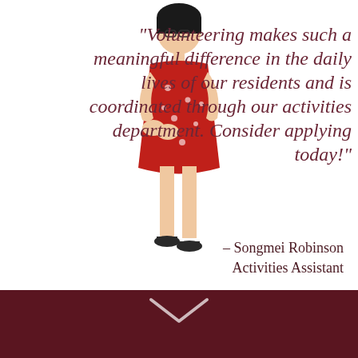[Figure (photo): A woman with glasses wearing a red floral dress and black sandals, standing and smiling, posed against a white background. Large italic quote text overlays the image.]
“Volunteering makes such a meaningful difference in the daily lives of our residents and is coordinated through our activities department. Consider applying today!”
– Songmei Robinson
Activities Assistant